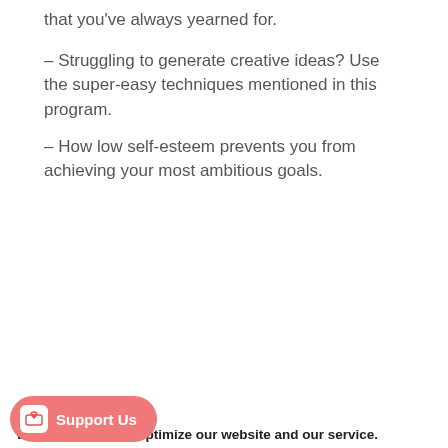that you've always yearned for.
– Struggling to generate creative ideas? Use the super-easy techniques mentioned in this program.
– How low self-esteem prevents you from achieving your most ambitious goals.
We use cookies to optimize our website and our service.
Accept
Dismiss
references
Support Us